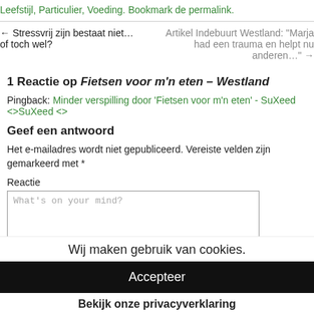Leefstijl, Particulier, Voeding. Bookmark de permalink.
← Stressvrij zijn bestaat niet… of toch wel?
Artikel Indebuurt Westland: "Marja had een trauma en helpt nu anderen…" →
1 Reactie op Fietsen voor m'n eten – Westland
Pingback: Minder verspilling door 'Fietsen voor m'n eten' - SuXeed <>SuXeed <>
Geef een antwoord
Het e-mailadres wordt niet gepubliceerd. Vereiste velden zijn gemarkeerd met *
Reactie
What's on your mind?
Wij maken gebruik van cookies.
Accepteer
Bekijk onze privacyverklaring